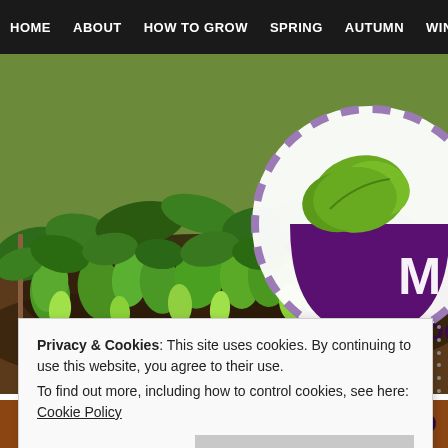HOME   ABOUT   HOW TO GROW   SPRING   AUTUMN   WINTER   U
[Figure (photo): Garden photo showing green plants and seedlings growing in dark soil with wooden stakes, with a circular logo overlay on the right side showing a green leaf/vegetable shape on a purple background with 'My Produ' text visible]
Privacy & Cookies: This site uses cookies. By continuing to use this website, you agree to their use.
To find out more, including how to control cookies, see here: Cookie Policy
Close and accept
WHERE TO